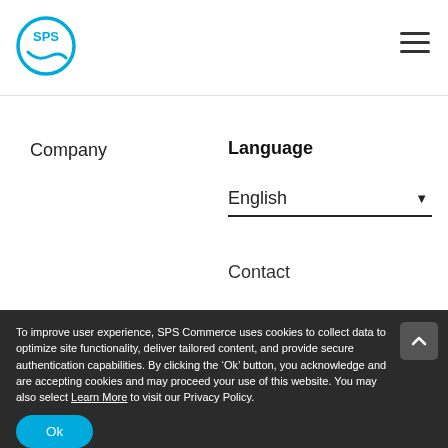SPS Commerce logo and navigation menu
Company
Language
English
Contact
To improve user experience, SPS Commerce uses cookies to collect data to optimize site functionality, deliver tailored content, and provide secure authentication capabilities. By clicking the ‘Ok’ button, you acknowledge and are accepting cookies and may proceed your use of this website. You may also select Learn More to visit our Privacy Policy.
Ok